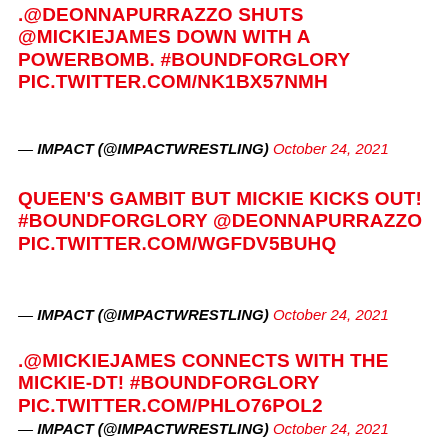.@DEONNAPURRAZZO SHUTS @MICKIEJAMES DOWN WITH A POWERBOMB. #BOUNDFORGLORY PIC.TWITTER.COM/NK1BX57NMH
— IMPACT (@IMPACTWRESTLING) October 24, 2021
QUEEN'S GAMBIT BUT MICKIE KICKS OUT! #BOUNDFORGLORY @DEONNAPURRAZZO PIC.TWITTER.COM/WGFDV5BUHQ
— IMPACT (@IMPACTWRESTLING) October 24, 2021
.@MICKIEJAMES CONNECTS WITH THE MICKIE-DT! #BOUNDFORGLORY PIC.TWITTER.COM/PHLO76POL2
— IMPACT (@IMPACTWRESTLING) October 24, 2021